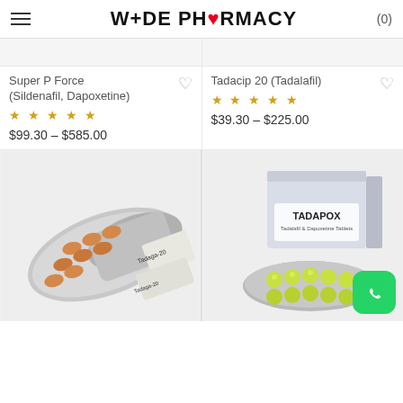W+DE PH❋RMACY (0)
Super P Force (Sildenafil, Dapoxetine) ★★★★★ $99.30 – $585.00
Tadacip 20 (Tadalafil) ★★★★★ $39.30 – $225.00
[Figure (photo): Blister pack of Tadaga-20 tadalafil tablets 20mg, showing orange oval pills]
[Figure (photo): Box of Tadapox (Tadalafil & Dapoxetine Tablets) with blister pack of yellow-green round pills]